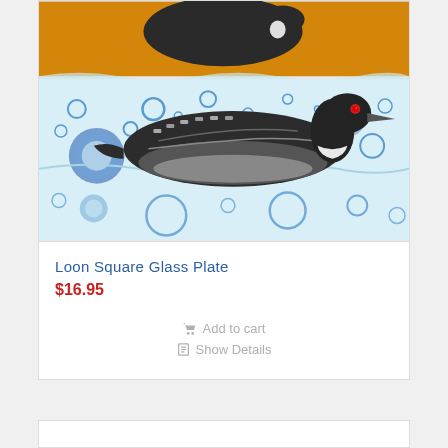[Figure (photo): Fused glass art plate depicting a loon bird swimming on water. The background shows an orange/golden sunset sky at top, with a light blue fused glass water scene below featuring circular bubble patterns in blue. The loon has a dark gray/black body with a white neck patch, red eye, and decorative striped markings.]
Loon Square Glass Plate
$16.95
Add to cart
Show Details